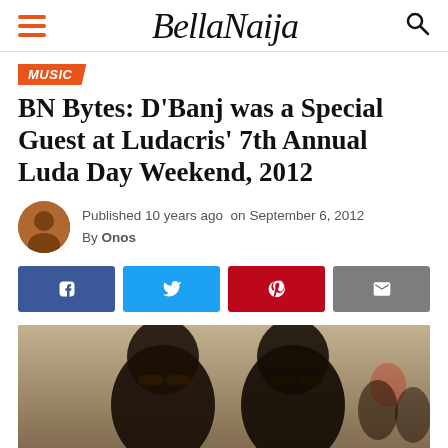BellaNaija
MUSIC
BN Bytes: D'Banj was a Special Guest at Ludacris' 7th Annual Luda Day Weekend, 2012
Published 10 years ago on September 6, 2012
By Onos
[Figure (other): Social sharing buttons: Facebook, Twitter, Pinterest, Email]
[Figure (photo): Photo of two men wearing sunglasses at Ludacris' 7th Annual Luda Day Weekend 2012]